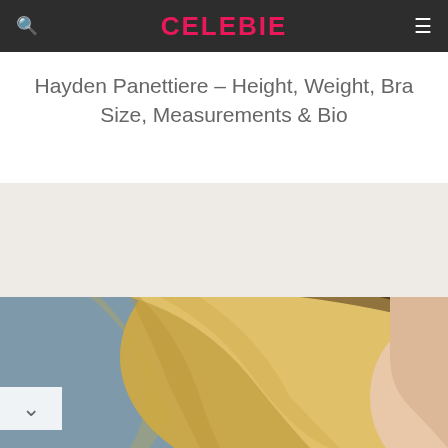CELEBIE
Hayden Panettiere – Height, Weight, Bra Size, Measurements & Bio
[Figure (photo): Gray advertisement banner placeholder]
[Figure (photo): Photo of Hayden Panettiere – cropped view showing blonde hair and top of head against a blue-gray background]